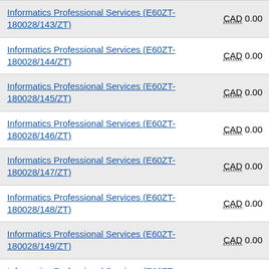| Contract | Value |
| --- | --- |
| Informatics Professional Services (E60ZT-180028/143/ZT) | CAD 0.00 |
| Informatics Professional Services (E60ZT-180028/144/ZT) | CAD 0.00 |
| Informatics Professional Services (E60ZT-180028/145/ZT) | CAD 0.00 |
| Informatics Professional Services (E60ZT-180028/146/ZT) | CAD 0.00 |
| Informatics Professional Services (E60ZT-180028/147/ZT) | CAD 0.00 |
| Informatics Professional Services (E60ZT-180028/148/ZT) | CAD 0.00 |
| Informatics Professional Services (E60ZT-180028/149/ZT) | CAD 0.00 |
| Informatics Professional Services (E60ZT-180028/150/ZT) | CAD 0.00 |
| Informatics Professional Services (E60ZT-180028/151/ZT) | CAD 0.00 |
| Informatics Professional Services (E60ZT-180028/...) | CAD 0.00 |